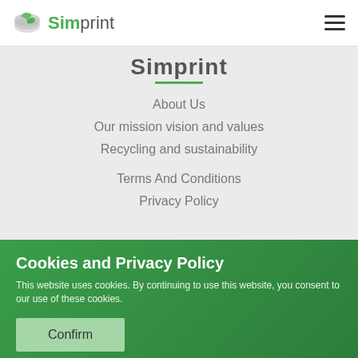Simprint
Simprint
About Us
Our mission vision and values
Recycling and sustainability
Terms And Conditions
Privacy Policy
Cookies and Privacy Policy
This website uses cookies. By continuing to use this website, you consent to our use of these cookies.
Confirm